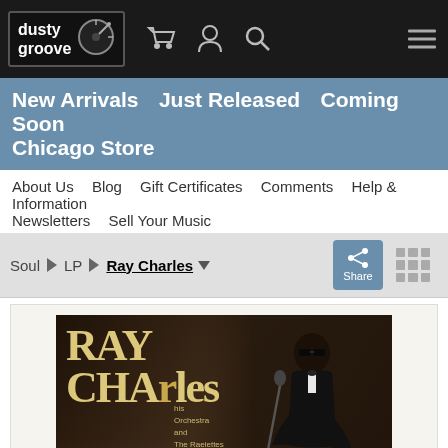dusty groove
New Arrivals  Just Released  Coming Soon  Chicago Store
About Us  Blog  Gift Certificates  Comments  Help & Information  Newsletters  Sell Your Music
Soul > LP > Ray Charles
[Figure (photo): Album cover for Ray Charles – His Orchestra and The Raelettes, Live in Stockholm 1972. Shows Ray Charles playing piano, wearing sunglasses and a tuxedo. Large stylized text reads RAY CHARLES with his Orchestra and The Raelettes, Live In Stockholm 1972.]